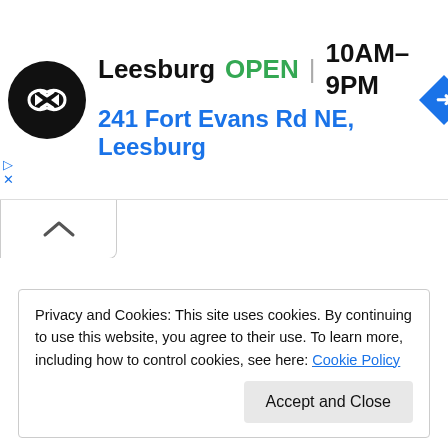[Figure (infographic): Ad banner showing Leesburg store: circular black logo with double-arrow symbol, store name 'Leesburg', green 'OPEN' label, hours '10AM–9PM', address '241 Fort Evans Rd NE, Leesburg' in blue, and a blue diamond navigation icon on the right.]
[Figure (other): Chevron/up-arrow tab button (accordion collapse control)]
Privacy and Cookies: This site uses cookies. By continuing to use this website, you agree to their use. To learn more, including how to control cookies, see here: Cookie Policy